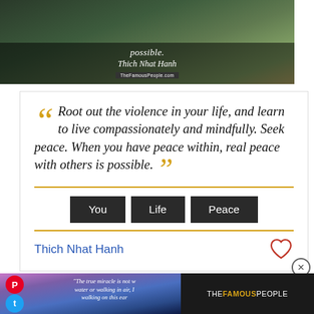[Figure (photo): Landscape/nature background image with text overlay showing 'possible.' and 'Thich Nhat Hanh' in italic cursive, with TheFamousPeople.com badge]
Root out the violence in your life, and learn to live compassionately and mindfully. Seek peace. When you have peace within, real peace with others is possible.
You
Life
Peace
Thich Nhat Hanh
[Figure (screenshot): Bottom portion showing a social media card with Pinterest and Twitter buttons, partial quote text about 'The true miracle is not walking on water or walking in air, but walking on this ear...' over a purple/blue sunset background, and TheFamousPeople logo on dark background]